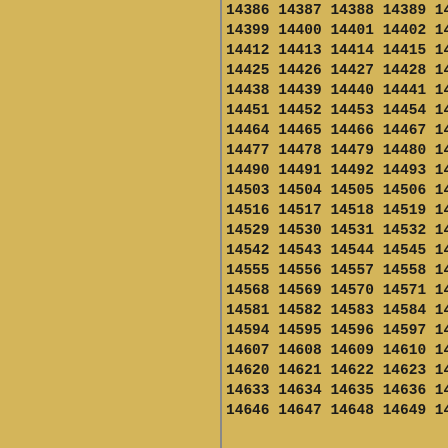14386 14387 14388 14389 14390 14399 14400 14401 14402 14403 14412 14413 14414 14415 14416 14425 14426 14427 14428 14429 14438 14439 14440 14441 14442 14451 14452 14453 14454 14455 14464 14465 14466 14467 14468 14477 14478 14479 14480 14481 14490 14491 14492 14493 14494 14503 14504 14505 14506 14507 14516 14517 14518 14519 14520 14529 14530 14531 14532 14533 14542 14543 14544 14545 14546 14555 14556 14557 14558 14559 14568 14569 14570 14571 14572 14581 14582 14583 14584 14585 14594 14595 14596 14597 14598 14607 14608 14609 14610 14611 14620 14621 14622 14623 14624 14633 14634 14635 14636 14637 14646 14647 14648 14649 14650